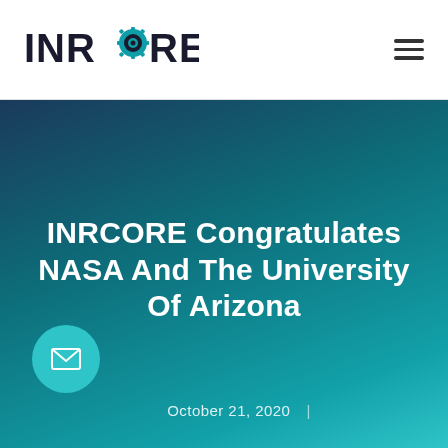[Figure (logo): INRCORE logo with stylized gear/target icon in the letter O, bold sans-serif uppercase text]
[Figure (other): Hamburger menu icon (three horizontal lines) in top right corner]
[Figure (other): Hero banner with dark teal to cyan gradient background]
INRCORE Congratulates NASA And The University Of Arizona
October 21, 2020
[Figure (other): Circular teal email/envelope button floating on lower left]